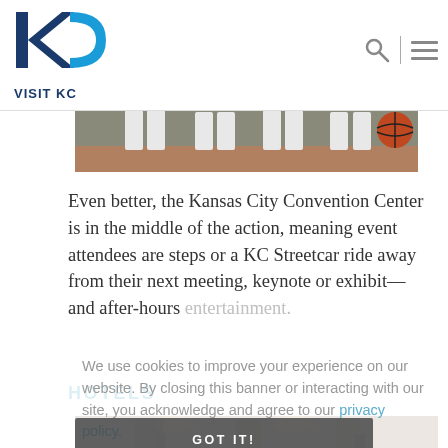[Figure (logo): Visit KC logo - blue and dark K and C letters with VISIT KC text below]
[Figure (photo): Partial view of sports players legs in white uniforms with a basketball visible]
Even better, the Kansas City Convention Center is in the middle of the action, meaning event attendees are steps or a KC Streetcar ride away from their next meeting, keynote or exhibit—and after-hours entertainment.
HOTELS
We use cookies to improve your experience on our website. By closing this banner or interacting with our site, you acknowledge and agree to our privacy policy.
[Figure (photo): Hotel lobby scene with people walking with luggage]
GOT IT!